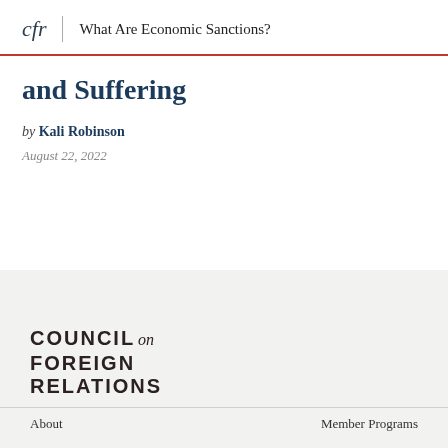cfr | What Are Economic Sanctions?
and Suffering
by Kali Robinson
August 22, 2022
[Figure (logo): Council on Foreign Relations logo with text: COUNCIL on FOREIGN RELATIONS]
About    Member Programs